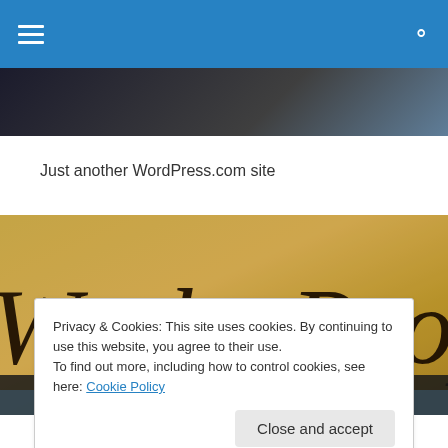Navigation bar with hamburger menu and search icon
[Figure (screenshot): Dark banner strip below navigation bar]
Just another WordPress.com site
[Figure (photo): We the People - US Constitution parchment image with calligraphic script on golden-yellow background]
Privacy & Cookies: This site uses cookies. By continuing to use this website, you agree to their use.
To find out more, including how to control cookies, see here: Cookie Policy

Close and accept
By: Ryan Matthew Dernick